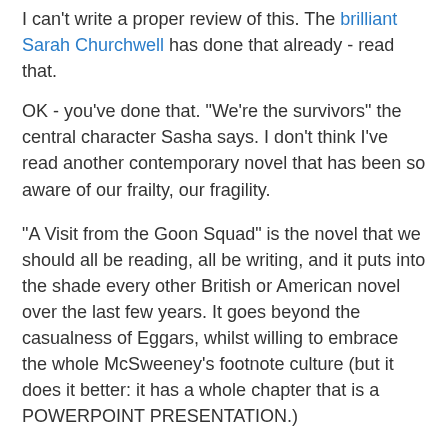I can't write a proper review of this. The brilliant Sarah Churchwell has done that already - read that.
OK - you've done that. "We're the survivors" the central character Sasha says. I don't think I've read another contemporary novel that has been so aware of our frailty, our fragility.
"A Visit from the Goon Squad" is the novel that we should all be reading, all be writing, and it puts into the shade every other British or American novel over the last few years. It goes beyond the casualness of Eggars, whilst willing to embrace the whole McSweeney's footnote culture (but it does it better: it has a whole chapter that is a POWERPOINT PRESENTATION.)
I finished this novel and wanted to start it again - but I had to go and make a bonfire of this year's Booker prize shortlist first. It's that good. It transforms. It makes. It reduces.
Better than that it "questions." Whereas you can read most